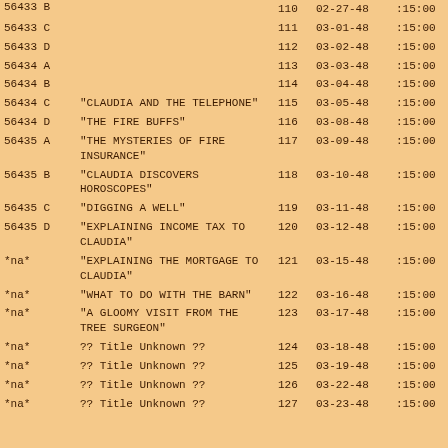| ID | Title | Ep | Date | Time |
| --- | --- | --- | --- | --- |
| 56433 B |  | 110 | 02-27-48 | :15:00 |
| 56433 C |  | 111 | 03-01-48 | :15:00 |
| 56433 D |  | 112 | 03-02-48 | :15:00 |
| 56434 A |  | 113 | 03-03-48 | :15:00 |
| 56434 B |  | 114 | 03-04-48 | :15:00 |
| 56434 C | "CLAUDIA AND THE TELEPHONE" | 115 | 03-05-48 | :15:00 |
| 56434 D | "THE FIRE BUFFS" | 116 | 03-08-48 | :15:00 |
| 56435 A | "THE MYSTERIES OF FIRE INSURANCE" | 117 | 03-09-48 | :15:00 |
| 56435 B | "CLAUDIA DISCOVERS HOROSCOPES" | 118 | 03-10-48 | :15:00 |
| 56435 C | "DIGGING A WELL" | 119 | 03-11-48 | :15:00 |
| 56435 D | "EXPLAINING INCOME TAX TO CLAUDIA" | 120 | 03-12-48 | :15:00 |
| *na* | "EXPLAINING THE MORTGAGE TO CLAUDIA" | 121 | 03-15-48 | :15:00 |
| *na* | "WHAT TO DO WITH THE BARN" | 122 | 03-16-48 | :15:00 |
| *na* | "A GLOOMY VISIT FROM THE TREE SURGEON" | 123 | 03-17-48 | :15:00 |
| *na* | ?? Title Unknown ?? | 124 | 03-18-48 | :15:00 |
| *na* | ?? Title Unknown ?? | 125 | 03-19-48 | :15:00 |
| *na* | ?? Title Unknown ?? | 126 | 03-22-48 | :15:00 |
| *na* | ?? Title Unknown ?? | 127 | 03-23-48 | :15:00 |